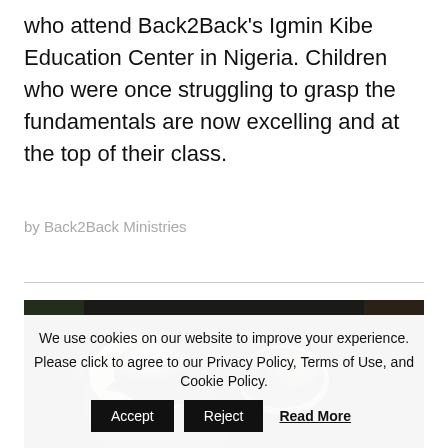who attend Back2Back's Igmin Kibe Education Center in Nigeria. Children who were once struggling to grasp the fundamentals are now excelling and at the top of their class.
by Back2Back Ministries
[Figure (photo): Close-up photo of children's heads from above, dark hair visible, blurry background]
We use cookies on our website to improve your experience. Please click to agree to our Privacy Policy, Terms of Use, and Cookie Policy.
Accept  Reject  Read More